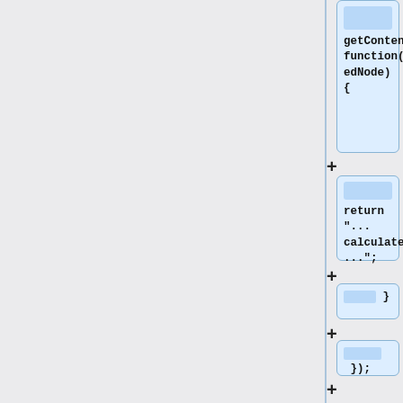[Figure (screenshot): A code/flowchart diff view showing collapsible node blocks with code snippets and a tooltip description. Left panel is light grey, right panel shows blue-highlighted code nodes connected by plus buttons. Nodes contain: 'getContent: function(matchedNode){', 'return "... calculated ...";', '}', '});', two empty nodes, and a tooltip description 'This is an out-of-the-box djit.Tooltip. It has a "getContent" method which is called dynamically'.]